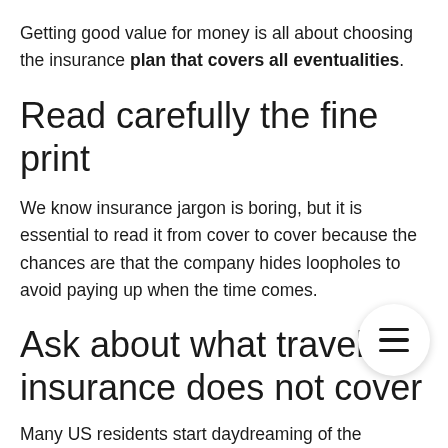Getting good value for money is all about choosing the insurance plan that covers all eventualities.
Read carefully the fine print
We know insurance jargon is boring, but it is essential to read it from cover to cover because the chances are that the company hides loopholes to avoid paying up when the time comes.
Ask about what travel insurance does not cover
Many US residents start daydreaming of the mosques of Istanbul and Madeira's islands the minute they book their holiday and fail to inquire about the things that the travel insurance does not